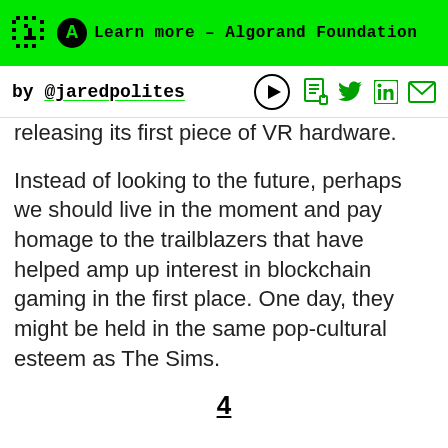Learn more – Algorand Foundation
by @jaredpolites
releasing its first piece of VR hardware.
Instead of looking to the future, perhaps we should live in the moment and pay homage to the trailblazers that have helped amp up interest in blockchain gaming in the first place. One day, they might be held in the same pop-cultural esteem as The Sims.
4